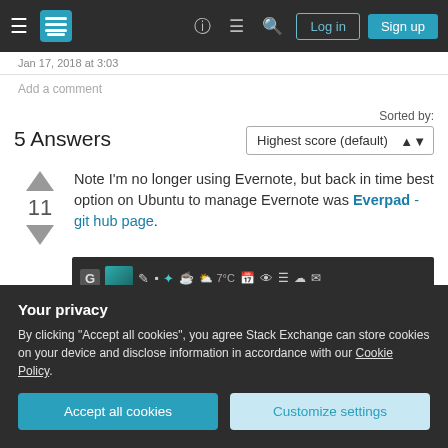Stack Exchange navigation bar with Log in and Sign up buttons
Jan 17, 2018 at 3:03
Add a comment
5 Answers
Sorted by: Highest score (default)
Note I'm no longer using Evernote, but back in time best option on Ubuntu to manage Evernote was Everpad - git hub page.
[Figure (screenshot): Screenshot of a desktop taskbar with various system tray icons including Dropbox, weather showing 7°C, calendar, and other app icons on a dark background]
Your privacy
By clicking "Accept all cookies", you agree Stack Exchange can store cookies on your device and disclose information in accordance with our Cookie Policy.
Accept all cookies
Customize settings